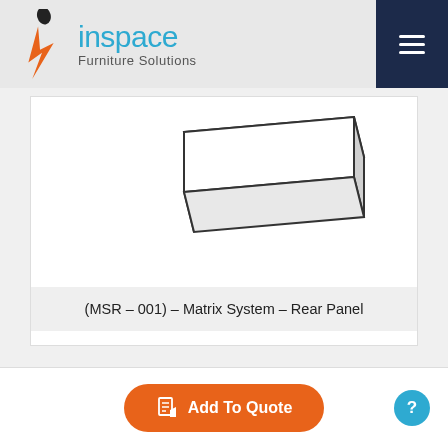inspace Furniture Solutions
[Figure (illustration): Technical line drawing of a flat rectangular rear panel component shown in perspective/isometric view, representing the Matrix System Rear Panel furniture component.]
(MSR – 001) – Matrix System – Rear Panel
[Figure (other): Orange rounded button labeled 'Add To Quote' with a small document/quote icon, and a blue circular help button with a question mark icon]